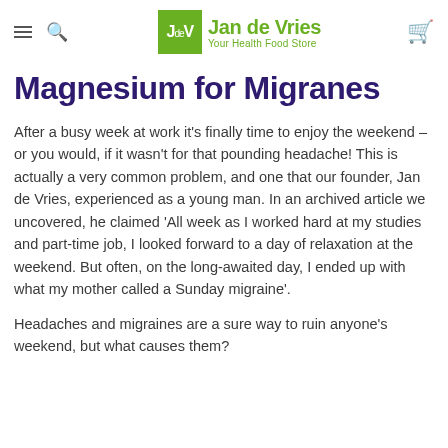Jan de Vries — Your Health Food Store
Magnesium for Migranes
After a busy week at work it's finally time to enjoy the weekend – or you would, if it wasn't for that pounding headache! This is actually a very common problem, and one that our founder, Jan de Vries, experienced as a young man. In an archived article we uncovered, he claimed 'All week as I worked hard at my studies and part-time job, I looked forward to a day of relaxation at the weekend. But often, on the long-awaited day, I ended up with what my mother called a Sunday migraine'.
Headaches and migraines are a sure way to ruin anyone's weekend, but what causes them?